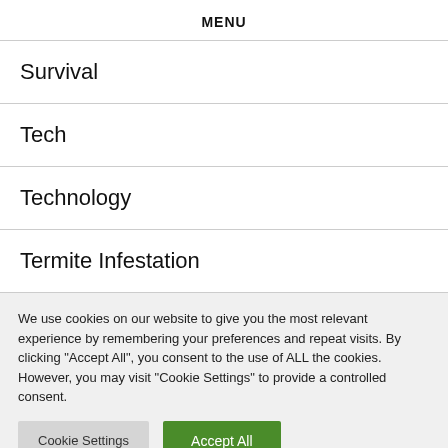MENU
Survival
Tech
Technology
Termite Infestation
We use cookies on our website to give you the most relevant experience by remembering your preferences and repeat visits. By clicking "Accept All", you consent to the use of ALL the cookies. However, you may visit "Cookie Settings" to provide a controlled consent.
Cookie Settings | Accept All